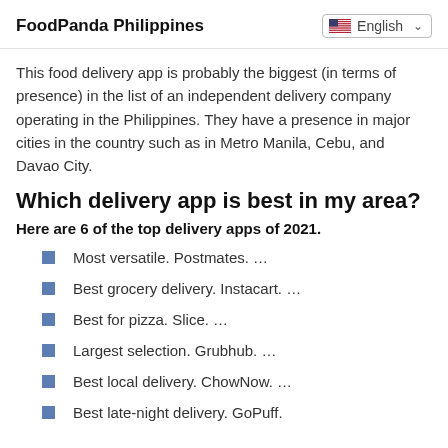FoodPanda Philippines
This food delivery app is probably the biggest (in terms of presence) in the list of an independent delivery company operating in the Philippines. They have a presence in major cities in the country such as in Metro Manila, Cebu, and Davao City.
Which delivery app is best in my area?
Here are 6 of the top delivery apps of 2021.
Most versatile. Postmates. …
Best grocery delivery. Instacart. …
Best for pizza. Slice. …
Largest selection. Grubhub. …
Best local delivery. ChowNow. …
Best late-night delivery. GoPuff.